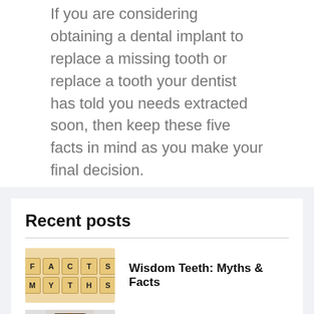If you are considering obtaining a dental implant to replace a missing tooth or replace a tooth your dentist has told you needs extracted soon, then keep these five facts in mind as you make your final decision.
Recent posts
[Figure (photo): Scrabble tiles arranged in two rows spelling FACTS and MYTHS on a warm beige background]
Wisdom Teeth: Myths & Facts
[Figure (photo): Young woman smiling, partial face visible, white background]
Is Invisalign For You?